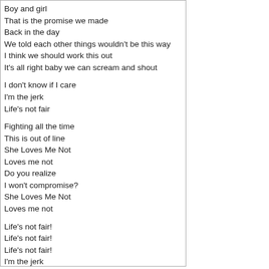Boy and girl
That is the promise we made
Back in the day
We told each other things wouldn't be this way
I think we should work this out
It's all right baby we can scream and shout

I don't know if I care
I'm the jerk
Life's not fair

Fighting all the time
This is out of line
She Loves Me Not
Loves me not
Do you realize
I won't compromise?
She Loves Me Not
Loves me not

Life's not fair!
Life's not fair!
Life's not fair!
I'm the jerk
Life's not fair

She Loves Me Not
Loves me not.